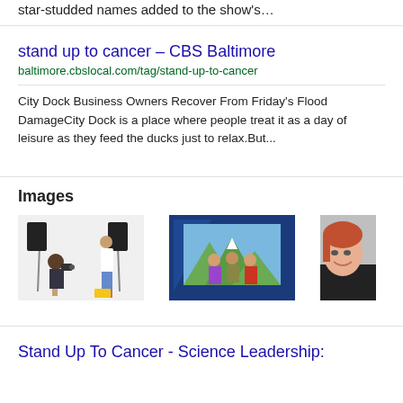star-studded names added to the show's…
stand up to cancer – CBS Baltimore
baltimore.cbslocal.com/tag/stand-up-to-cancer
City Dock Business Owners Recover From Friday's Flood DamageCity Dock is a place where people treat it as a day of leisure as they feed the ducks just to relax.But...
Images
[Figure (photo): Photo shoot scene with photographer and model in studio with lighting equipment]
[Figure (photo): Three people posing outdoors with mountains and lake in background, framed in blue broadcast graphic]
[Figure (photo): Partial view of a smiling woman]
Stand Up To Cancer - Science Leadership: